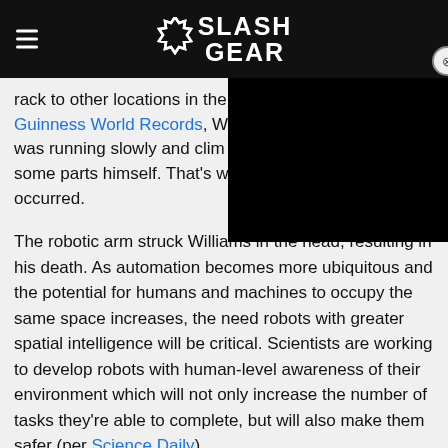SlashGear
rack to other locations in the factory. As explained by Guinness World Records, Williams was running slowly and climbed some parts himself. That's when the incident occurred.
The robotic arm struck Williams in the head, resulting in his death. As automation becomes more ubiquitous and the potential for humans and machines to occupy the same space increases, the need robots with greater spatial intelligence will be critical. Scientists are working to develop robots with human-level awareness of their environment which will not only increase the number of tasks they're able to complete, but will also make them safer (per Science Daily).